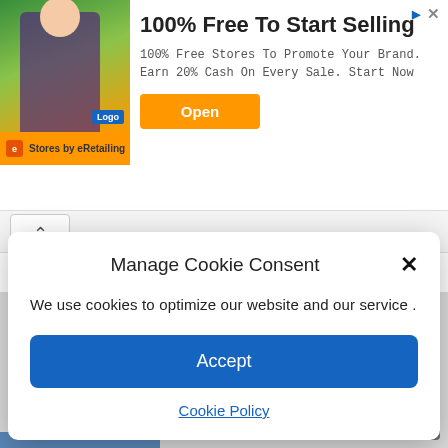[Figure (screenshot): Advertisement banner: woman in purple shirt lifting weights, 'Logo' badge. Text: '100% Free To Start Selling', '100% Free Stores To Promote Your Brand. Earn 20% Cash On Every Sale. Start Now'. Orange 'Open' button. 'Stores by eRetailing' branding at bottom left. Ad attribution icons top right.]
[Figure (screenshot): Web browser chrome area with a scroll/tab control showing an upward chevron arrow (^) on a white tab.]
Manage Cookie Consent
We use cookies to optimize our website and our service .
Accept
Cookie Policy
[Figure (screenshot): Website URL input field (placeholder text 'Website'), a checkbox with label 'Save my name, email, and website in this browser for the next time I comment.', a dark scroll-to-top button with double chevron, and a blue bar at the bottom.]